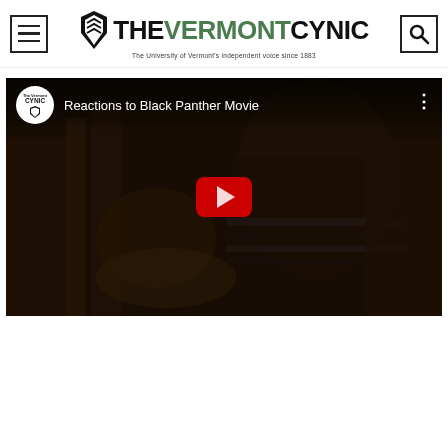[Figure (logo): The Vermont Cynic newspaper logo with hamburger menu icon on left and search icon on right. Logo reads THE VERMONT CYNIC with tagline 'The University of Vermont's independent voice since 1883']
[Figure (screenshot): Embedded YouTube video thumbnail showing 'Reactions to Black Panther Movie' by The Vermont Cynic. Dark scene with a person in a striped shirt. Red play button in center.]